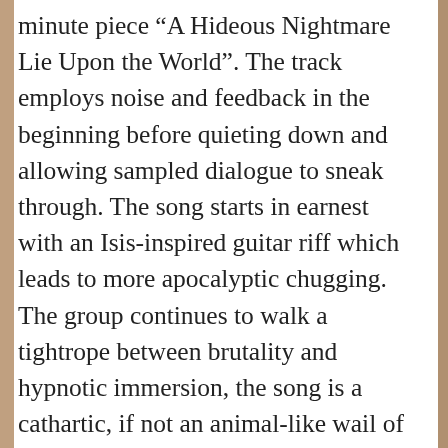minute piece “A Hideous Nightmare Lie Upon the World”. The track employs noise and feedback in the beginning before quieting down and allowing sampled dialogue to sneak through. The song starts in earnest with an Isis-inspired guitar riff which leads to more apocalyptic chugging. The group continues to walk a tightrope between brutality and hypnotic immersion, the song is a cathartic, if not an animal-like wail of pain and suffering. Eventually, they quiet down again and the sampled voices reemerge. “Ok, we’ll just give him more time and let him die. He’ll die soon,